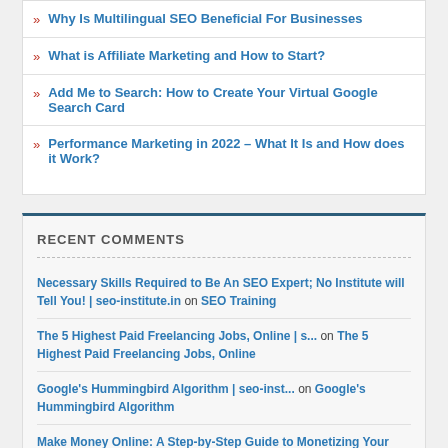Why Is Multilingual SEO Beneficial For Businesses
What is Affiliate Marketing and How to Start?
Add Me to Search: How to Create Your Virtual Google Search Card
Performance Marketing in 2022 – What It Is and How does it Work?
RECENT COMMENTS
Necessary Skills Required to Be An SEO Expert; No Institute will Tell You! | seo-institute.in on SEO Training
The 5 Highest Paid Freelancing Jobs, Online | s... on The 5 Highest Paid Freelancing Jobs, Online
Google's Hummingbird Algorithm | seo-inst... on Google's Hummingbird Algorithm
Make Money Online: A Step-by-Step Guide to Monetizing Your Blog | SEO Best Practices Easy Money Online | Step by Step...